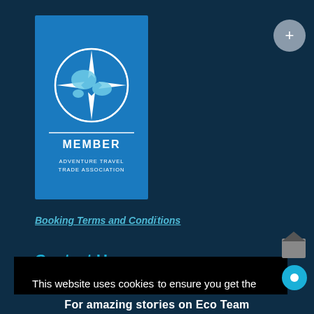[Figure (logo): Adventure Travel Trade Association Member badge — blue square with globe/compass icon and text MEMBER / ADVENTURE TRAVEL / TRADE ASSOCIATION]
Booking Terms and Conditions
Contact Us
This website uses cookies to ensure you get the best experience on our website.
Learn more
Got it!
For amazing stories on Eco Team